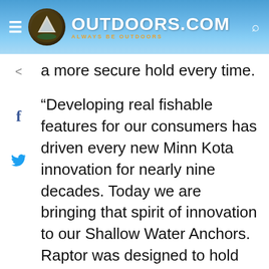OUTDOORS.COM — ALWAYS BE OUTDOORS
a more secure hold every time.
“Developing real fishable features for our consumers has driven every new Minn Kota innovation for nearly nine decades. Today we are bringing that spirit of innovation to our Shallow Water Anchors. Raptor was designed to hold more reliably than any other anchor of its kind utilizing patented smart technology to analyze water and bottom conditions keeping you where you want when you want. It is the anchor that relentlessly works to keep you